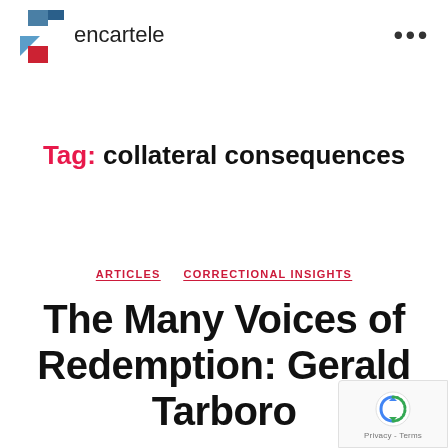encartele ...
Tag: collateral consequences
ARTICLES  CORRECTIONAL INSIGHTS
The Many Voices of Redemption: Gerald Tarboro